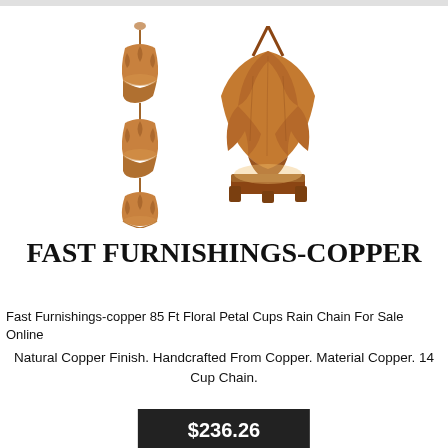[Figure (photo): Product photo showing a copper floral petal rain chain with multiple cup-shaped copper pieces linked together, and a close-up of a single large floral petal cup in copper finish.]
FAST FURNISHINGS-COPPER
Fast Furnishings-copper 85 Ft Floral Petal Cups Rain Chain For Sale Online
Natural Copper Finish. Handcrafted From Copper. Material Copper. 14 Cup Chain.
$236.26